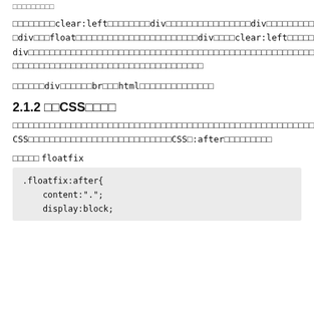□□□□□□□□□
□□□□□□□□clear:left□□□□□□□□div□□□□□□□□□□□□□□□□div□□□□□□□□□□□□□□□□□div□□□float□□□□□□□□□□□□□□□□□□□□□□□div□□□□clear:left□□□□□□□□□div□□□□□□□□□□□□□□□□□□□□□□□□□□□□□□□□□□□□□□□□□□□□□□□□□□□□□□□□□□□□□□□□□□□□□□□□□□□□□□□□□□□□□□□□□□□□□□□
□□□□□□div□□□□□□br□□□html□□□□□□□□□□□□□□
2.1.2 □□CSS□□□□
□□□□□□□□□□□□□□□□□□□□□□□□□□□□□□□□□□□□□□□□□□□□□□□□□□□□□□□□□□□□□□□□□□□□□□□□□□□□□□CSS□□□□□□□□□□□□□□□□□□□□□□□□□□□CSS□:after□□□□□□□□□
□□□□□ floatfix
.floatfix:after{
    content:".";
    display:block;